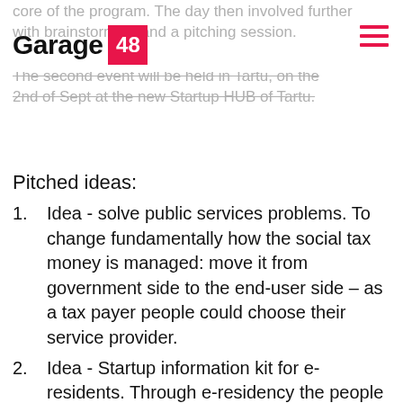Garage 48
core of the program. The day then involved further with brainstorming and a pitching session. The second event will be held in Tartu, on the 2nd of Sept at the new Startup HUB of Tartu.
Pitched ideas:
1. Idea - solve public services problems. To change fundamentally how the social tax money is managed: move it from government side to the end-user side – as a tax payer people could choose their service provider.
2. Idea - Startup information kit for e-residents. Through e-residency the people outside of EU will have the opportunity to open up their information about bank accounts and transferring services, as the European legislation will change in a couple of